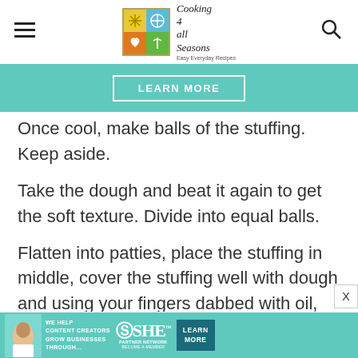Cooking 4 all Seasons — Easy Everyday Recipes
[Figure (other): Teal banner with LEARN MORE button]
Once cool, make balls of the stuffing. Keep aside.
Take the dough and beat it again to get the soft texture. Divide into equal balls.
Flatten into patties, place the stuffing in middle, cover the stuffing well with dough and using your fingers dabbed with oil, spread on a
[Figure (other): SHE Media Partner Network advertisement banner at bottom]